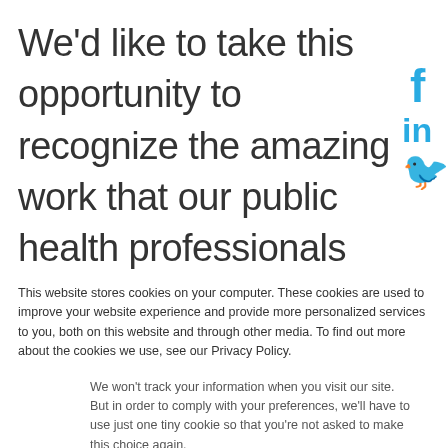We'd like to take this opportunity to recognize the amazing work that our public health professionals
[Figure (infographic): Social media icons: Facebook (f), LinkedIn (in), Twitter bird icon, displayed vertically in cyan/blue color on the right side]
This website stores cookies on your computer. These cookies are used to improve your website experience and provide more personalized services to you, both on this website and through other media. To find out more about the cookies we use, see our Privacy Policy.
We won't track your information when you visit our site. But in order to comply with your preferences, we'll have to use just one tiny cookie so that you're not asked to make this choice again.
Accept | Decline